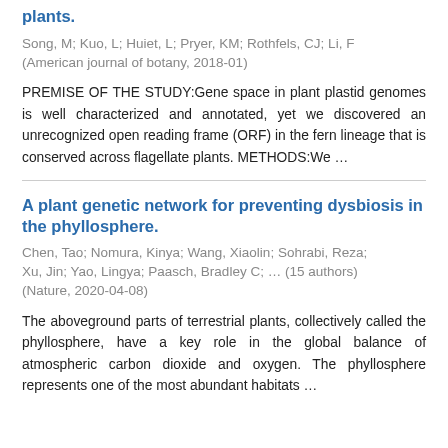plants.
Song, M; Kuo, L; Huiet, L; Pryer, KM; Rothfels, CJ; Li, F (American journal of botany, 2018-01)
PREMISE OF THE STUDY:Gene space in plant plastid genomes is well characterized and annotated, yet we discovered an unrecognized open reading frame (ORF) in the fern lineage that is conserved across flagellate plants. METHODS:We ...
A plant genetic network for preventing dysbiosis in the phyllosphere.
Chen, Tao; Nomura, Kinya; Wang, Xiaolin; Sohrabi, Reza; Xu, Jin; Yao, Lingya; Paasch, Bradley C; ... (15 authors) (Nature, 2020-04-08)
The aboveground parts of terrestrial plants, collectively called the phyllosphere, have a key role in the global balance of atmospheric carbon dioxide and oxygen. The phyllosphere represents one of the most abundant habitats ...